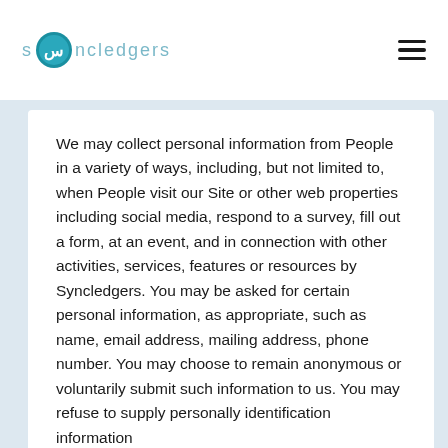syncledgers
We may collect personal information from People in a variety of ways, including, but not limited to, when People visit our Site or other web properties including social media, respond to a survey, fill out a form, at an event, and in connection with other activities, services, features or resources by Syncledgers. You may be asked for certain personal information, as appropriate, such as name, email address, mailing address, phone number. You may choose to remain anonymous or voluntarily submit such information to us. You may refuse to supply personally identification information